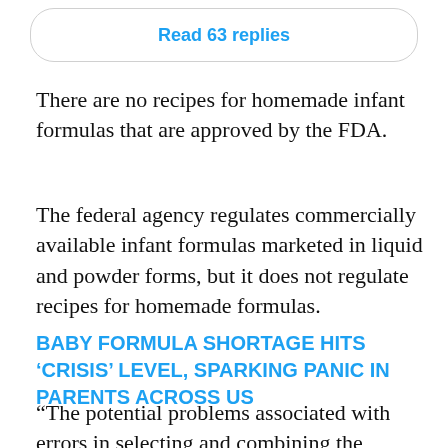Read 63 replies
There are no recipes for homemade infant formulas that are approved by the FDA.
The federal agency regulates commercially available infant formulas marketed in liquid and powder forms, but it does not regulate recipes for homemade formulas.
BABY FORMULA SHORTAGE HITS ‘CRISIS’ LEVEL, SPARKING PANIC IN PARENTS ACROSS US
“The potential problems associated with errors in selecting and combining the ingredients for the formula...